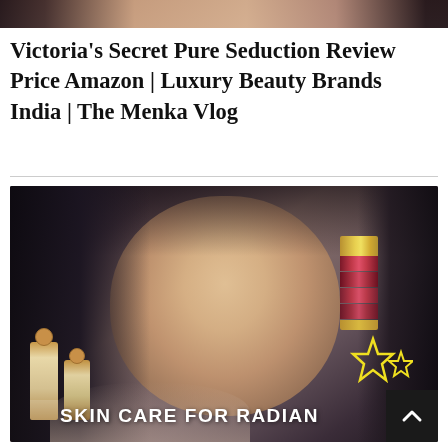[Figure (photo): Cropped top portion of a person's face/photo, partially visible at the top of the page]
Victoria’s Secret Pure Seduction Review Price Amazon | Luxury Beauty Brands India | The Menka Vlog
[Figure (photo): A young woman with long black hair wearing light makeup, holding lipsticks/lip glosses with gold caps and red/pink shades. Two skincare bottles with rose-gold lids are visible in the lower left. Yellow star graphics and the text 'SKIN CARE FOR RADIAN' overlay the bottom of the image. A dark scroll-to-top button with an upward arrow is visible in the bottom-right corner.]